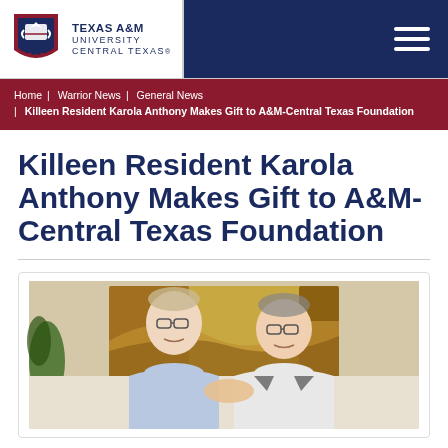Texas A&M University Central Texas — navigation header with logo and menu
Home | Warrior News | General News | Killeen Resident Karola Anthony Makes Gift to A&M-Central Texas Foundation
Killeen Resident Karola Anthony Makes Gift to A&M-Central Texas Foundation
[Figure (photo): Two men shaking hands indoors in front of a painting with warm yellow and brown tones. Both men are wearing glasses and smiling.]